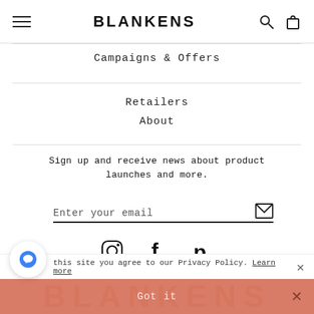BLANKENS
Campaigns & Offers
Retailers
About
Sign up and receive news about product launches and more.
Enter your email
[Figure (other): Instagram, Facebook, Pinterest social media icons]
this site you agree to our Privacy Policy. Learn more
Got it